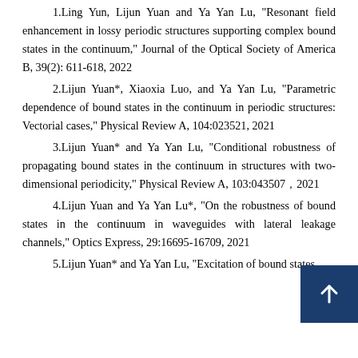1.Ling Yun, Lijun Yuan and Ya Yan Lu, "Resonant field enhancement in lossy periodic structures supporting complex bound states in the continuum," Journal of the Optical Society of America B, 39(2): 611-618, 2022
2.Lijun Yuan*, Xiaoxia Luo, and Ya Yan Lu, "Parametric dependence of bound states in the continuum in periodic structures: Vectorial cases," Physical Review A, 104:023521, 2021
3.Lijun Yuan* and Ya Yan Lu, "Conditional robustness of propagating bound states in the continuum in structures with two-dimensional periodicity," Physical Review A, 103:043507, 2021
4.Lijun Yuan and Ya Yan Lu*, "On the robustness of bound states in the continuum in waveguides with lateral leakage channels," Optics Express, 29:16695-16709, 2021
5.Lijun Yuan* and Ya Yan Lu, "Excitation of bound states